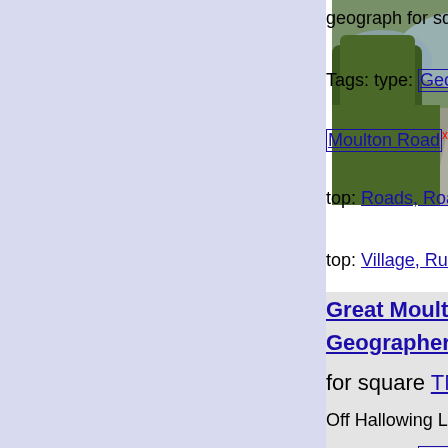[Figure (photo): Photo of a rural road with trees and hedges, taken from road level looking ahead]
geograph for square TM1...
Tags: type: Geograph x  at:
Moulton Road x  subject: R...
top: Roads, Road Transport...
top: Village, Rural Settlemen...
Great Moulton Village N... Geographer for square TM1690
Off Hallowing Lane
Tags: type: Close Look x  bu...
at: Great Moulton
[Figure (photo): Photo of a village notice board covered in ivy/hedges]
Great Moulton Village Notic...
Hallowing Lane x  off: Hallo...
subject: Notice x  Notice Bo...
Village Notice Board x
top: Village, Rural Settlemen...
Great Moulton Village s... Geographer for square TM1690
On Old Road at the junction wit...
[Figure (photo): Partial photo of Great Moulton village scene]